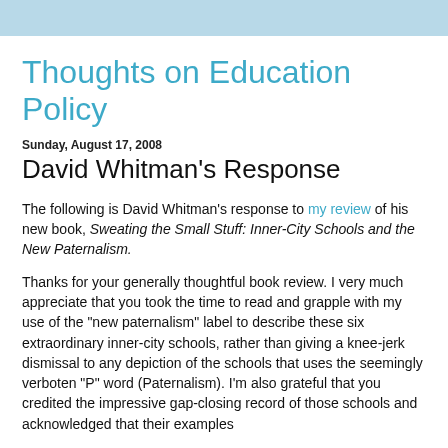Thoughts on Education Policy
Sunday, August 17, 2008
David Whitman's Response
The following is David Whitman's response to my review of his new book, Sweating the Small Stuff: Inner-City Schools and the New Paternalism.
Thanks for your generally thoughtful book review. I very much appreciate that you took the time to read and grapple with my use of the "new paternalism" label to describe these six extraordinary inner-city schools, rather than giving a knee-jerk dismissal to any depiction of the schools that uses the seemingly verboten "P" word (Paternalism). I'm also grateful that you credited the impressive gap-closing record of those schools and acknowledged that their examples